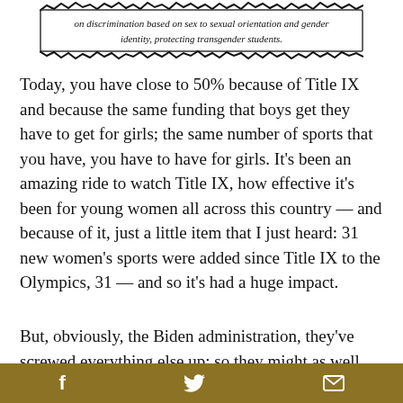[Figure (other): Torn paper snippet with italic text reading: 'on discrimination based on sex to sexual orientation and gender identity, protecting transgender students.']
Today, you have close to 50% because of Title IX and because the same funding that boys get they have to get for girls; the same number of sports that you have, you have to have for girls. It's been an amazing ride to watch Title IX, how effective it's been for young women all across this country — and because of it, just a little item that I just heard: 31 new women's sports were added since Title IX to the Olympics, 31 — and so it's had a huge impact.
But, obviously, the Biden administration, they've screwed everything else up; so they might as well screw up Title IX which is something that we all hold dearly to our heart. So this morning on the anniversary
f  [twitter bird]  [mail]